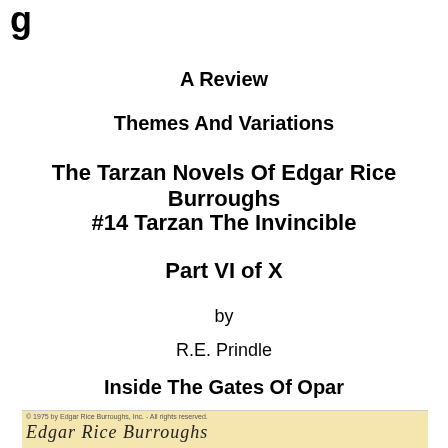A Review
Themes And Variations
The Tarzan Novels Of Edgar Rice Burroughs
#14 Tarzan The Invincible
Part VI of X
by
R.E. Prindle
Inside The Gates Of Opar
[Figure (illustration): Bottom strip showing a tan/yellow background with small copyright text reading '© 1975 by Edgar Rice Burroughs, Inc. - All rights reserved.' and below it the beginning of a script/cursive font text partially visible.]